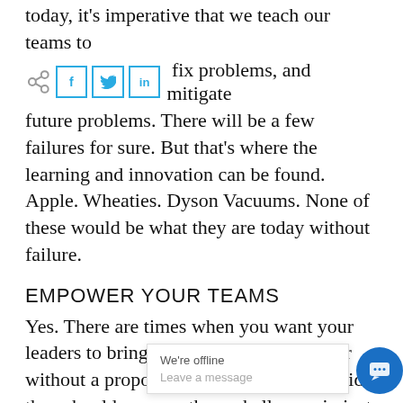today, it's imperative that we teach our teams to
[Figure (other): Social share icons row: share icon, Facebook (f), Twitter (bird), LinkedIn (in) buttons, followed by text 'fix problems, and mitigate']
future problems. There will be a few failures for sure. But that's where the learning and innovation can be found. Apple. Wheaties. Dyson Vacuums. None of these would be what they are today without failure.
EMPOWER YOUR TEAMS
Yes. There are times when you want your leaders to bring you the issues. But never without a proposed solution. And as a guide, they should manage these challenges in just of three ways;
[Figure (other): Live chat widget overlay: 'We're offline' message box with 'Leave a message' placeholder and blue circular chat bubble icon]